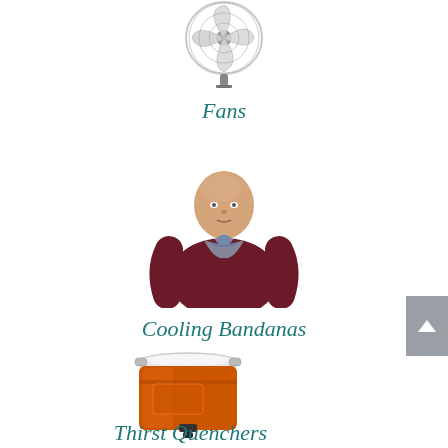[Figure (photo): Industrial pedestal fan photographed from below, metallic blades visible at top of page]
Fans
[Figure (photo): A bald man wearing a dark maroon sweater with a cooling bandana tied around his neck]
Cooling Bandanas
[Figure (photo): Orange cylindrical water cooler/drink dispenser with white lid and spigot at the bottom]
Thirst Quenchers